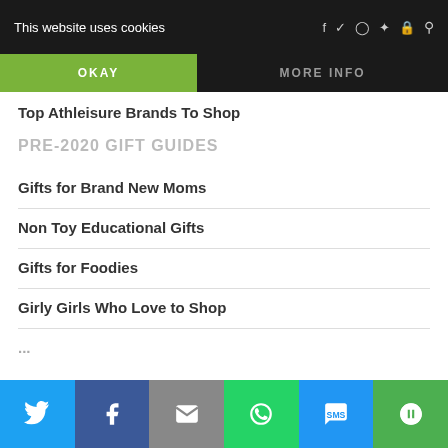This website uses cookies
OKAY
MORE INFO
Top Athleisure Brands To Shop
PRE-2020 GIFT GUIDES
Gifts for Brand New Moms
Non Toy Educational Gifts
Gifts for Foodies
Girly Girls Who Love to Shop
Twitter | Facebook | Email | WhatsApp | SMS | More